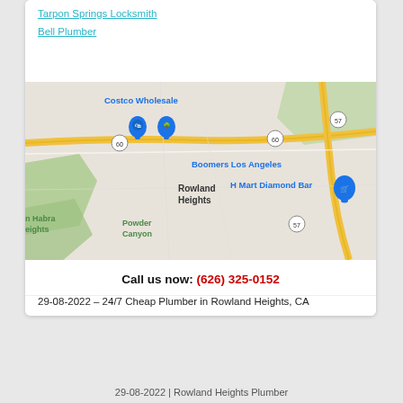Tarpon Springs Locksmith
Bell Plumber
[Figure (map): Google Maps screenshot showing Rowland Heights, CA area with landmarks: Costco Wholesale, Boomers Los Angeles, H Mart Diamond Bar, Powder Canyon, La Habra Heights. Highways 60 and 57 visible.]
Call us now: (626) 325-0152
29-08-2022 – 24/7 Cheap Plumber in Rowland Heights, CA
29-08-2022 | Rowland Heights Plumber